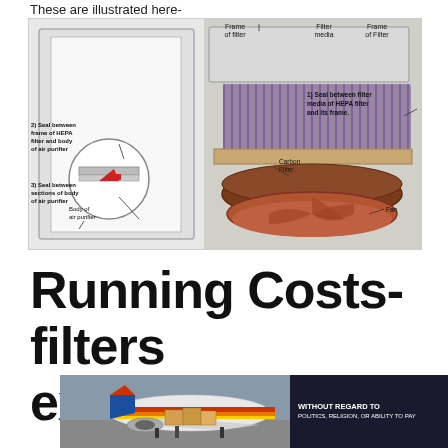These are illustrated here-
[Figure (engineering-diagram): Cross-section diagram of a HEPA air purifier showing: Frame of filter, Filter media, Frame of Filter (top labels); 1) Seal between filter media of HEPA filter and its frame (right side); Carbon Filter label; Fan label; 2) Seal between frame of HEPA filter and body of air purifier (left side with magnified inset showing red arrow); Body of air purifier label; 3) Seal between sections of body of air purifier (bottom left).]
Running Costs- filters expensive as high quality but
[Figure (photo): Advertisement banner showing a Southwest Airlines cargo plane being loaded, with text 'WITHOUT REGARD TO POLITICS, RELIGION, OR ABILITY TO PAY']